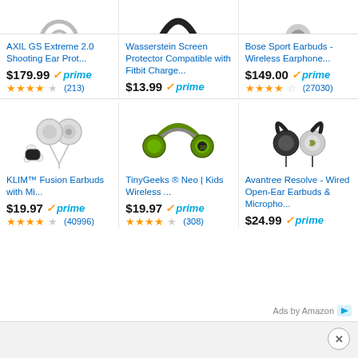[Figure (screenshot): Amazon product listing grid showing 6 audio products with prices, prime badges, star ratings and review counts. Products include AXIL GS Extreme 2.0 Shooting Ear Protector ($179.99), Wasserstein Screen Protector Compatible with Fitbit Charge ($13.99), Bose Sport Earbuds Wireless Earphone ($149.00), KLIM Fusion Earbuds with Mic ($19.97), TinyGeeks Neo Kids Wireless ($19.97), Avantree Resolve Wired Open-Ear Earbuds & Microphone ($24.99). Ads by Amazon footer.]